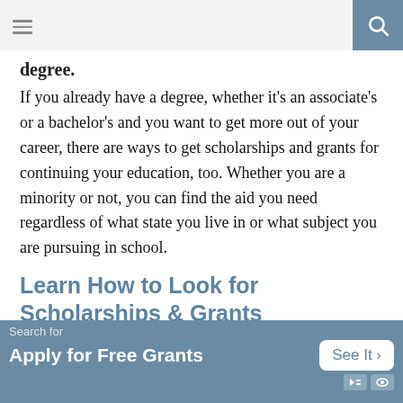degree.
If you already have a degree, whether it’s an associate’s or a bachelor’s and you want to get more out of your career, there are ways to get scholarships and grants for continuing your education, too. Whether you are a minority or not, you can find the aid you need regardless of what state you live in or what subject you are pursuing in school.
Learn How to Look for Scholarships & Grants
The first thing to be aware of is that scholarships and grants don’t have to be paid back. It’s a gift for you to enjoy if you
[Figure (photo): Photo of a brick university building with green shrubbery and a person in the foreground]
Search for
Apply for Free Grants
See It >